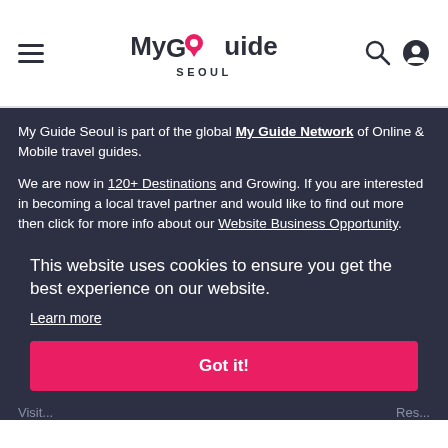My Guide Seoul
My Guide Seoul is part of the global My Guide Network of Online & Mobile travel guides.
We are now in 120+ Destinations and Growing. If you are interested in becoming a local travel partner and would like to find out more then click for more info about our Website Business Opportunity.
This website uses cookies to ensure you get the best experience on our website.
Learn more
Got it!